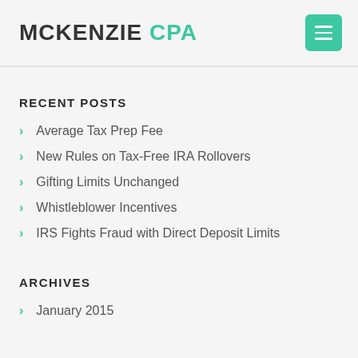MCKENZIE CPA
RECENT POSTS
Average Tax Prep Fee
New Rules on Tax-Free IRA Rollovers
Gifting Limits Unchanged
Whistleblower Incentives
IRS Fights Fraud with Direct Deposit Limits
ARCHIVES
January 2015